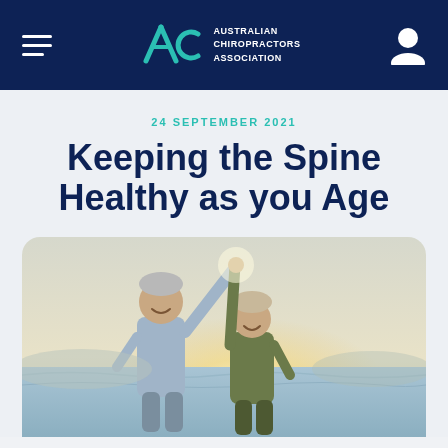ACA Australian Chiropractors Association
24 SEPTEMBER 2021
Keeping the Spine Healthy as you Age
[Figure (photo): Elderly couple at a beach, smiling and holding hands raised up together in a celebratory pose, with sunlight behind them and ocean in the background.]